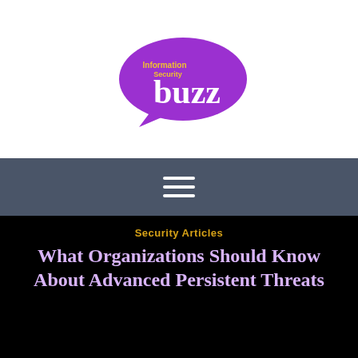[Figure (logo): Information Security Buzz logo — purple speech bubble shape with 'buzz' in large white text and 'Information Security' in small yellow text above]
[Figure (other): Hamburger menu icon — three horizontal white lines on dark grey background]
Security Articles
What Organizations Should Know About Advanced Persistent Threats
John Maddison   September 16, 2013
CISO, Data protection, Hacking, Identity and access